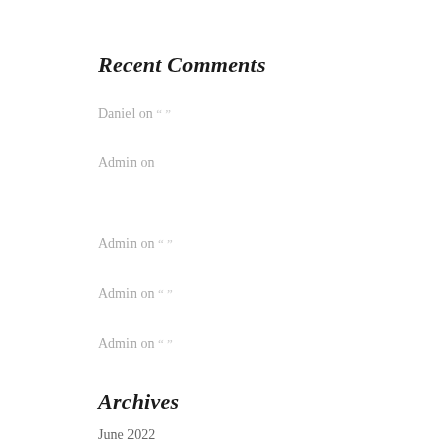Recent Comments
Daniel on “ ”
Admin on
Admin on “ ”
Admin on “ ”
Admin on “ ”
Archives
June 2022
May 2022
February 2022